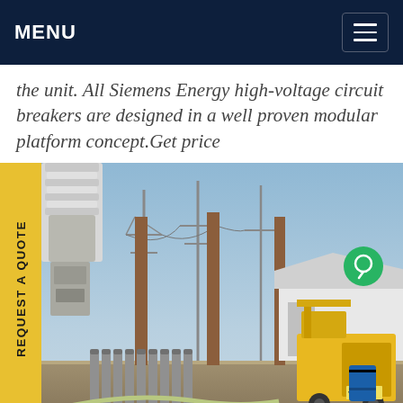MENU
the unit. All Siemens Energy high-voltage circuit breakers are designed in a well proven modular platform concept.Get price
[Figure (photo): Outdoor high-voltage electrical substation with large circuit breaker insulators, power transmission towers, gas cylinders, and a yellow service truck. A yellow 'REQUEST A QUOTE' sidebar is overlaid on the left edge.]